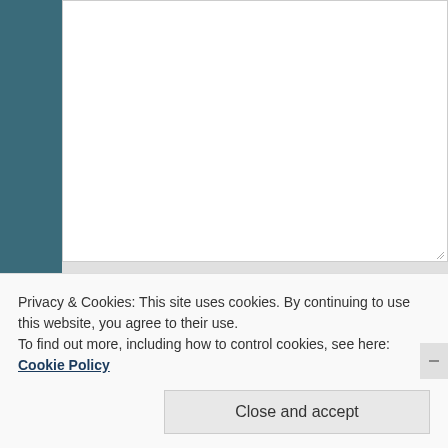[Figure (screenshot): A web form interface showing a large textarea input at the top, followed by a Name field with label and text input, and an Email field partially visible. The background is teal/dark blue on the sides with a light gray form panel in the center.]
Privacy & Cookies: This site uses cookies. By continuing to use this website, you agree to their use.
To find out more, including how to control cookies, see here: Cookie Policy
Close and accept